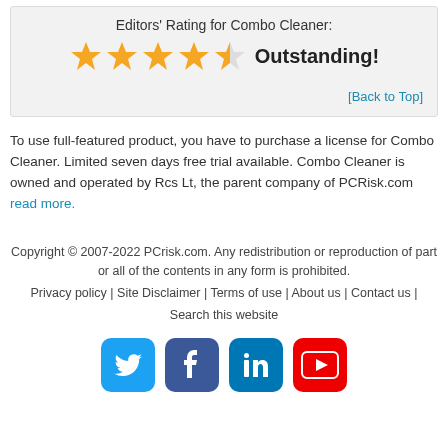Editors' Rating for Combo Cleaner:
[Figure (infographic): 4.5 out of 5 stars rating with text 'Outstanding!']
[Back to Top]
To use full-featured product, you have to purchase a license for Combo Cleaner. Limited seven days free trial available. Combo Cleaner is owned and operated by Rcs Lt, the parent company of PCRisk.com read more.
Copyright © 2007-2022 PCrisk.com. Any redistribution or reproduction of part or all of the contents in any form is prohibited. Privacy policy | Site Disclaimer | Terms of use | About us | Contact us | Search this website
[Figure (infographic): Social media icons: Twitter, Facebook, LinkedIn, YouTube]